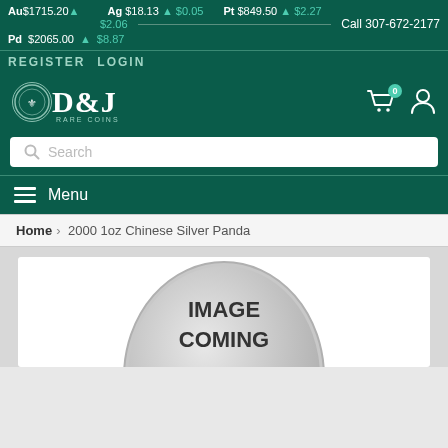Au$1715.20 ▲ $2.06  Ag $18.13 ▲ $0.05  Pt $849.50 ▲ $2.27  Pd $2065.00 ▲ $8.87  Call 307-672-2177
REGISTER  LOGIN
[Figure (logo): D&J Rare Coins logo with coin emblem circle]
[Figure (screenshot): Search bar with magnifying glass icon]
≡ Menu
Home > 2000 1oz Chinese Silver Panda
[Figure (photo): IMAGE COMING placeholder coin image]